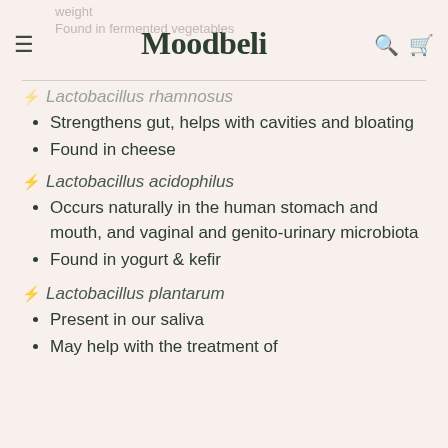Moodbeli
⚡ Lactobacillus rhamnosus
Strengthens gut, helps with cavities and bloating
Found in cheese
⚡ Lactobacillus acidophilus
Occurs naturally in the human stomach and mouth, and vaginal and genito-urinary microbiota
Found in yogurt & kefir
⚡ Lactobacillus plantarum
Present in our saliva
May help with the treatment of